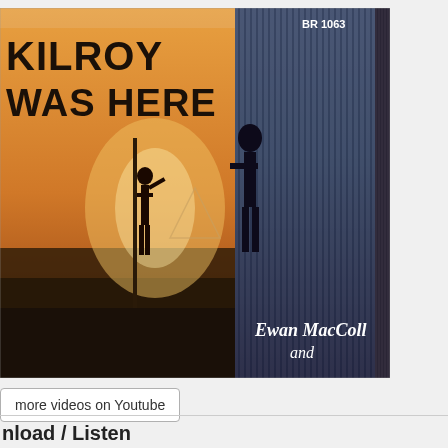[Figure (illustration): Album cover for 'Kilroy Was Here' by Ewan MacColl and others. Shows text 'KILROY WAS HERE' in hand-drawn graffiti style on top-left, with figures in an industrial/outdoor scene, warm orange tones on the left and cooler blue/dark tones on the right. Catalog number BR 1063 in upper right. Artist name 'Ewan MacColl and' appears at bottom right.]
more videos on Youtube
nload / Listen